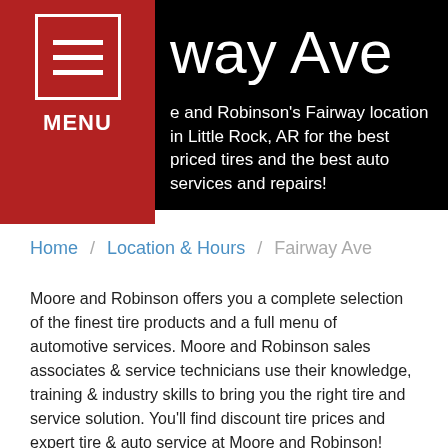way Ave
e and Robinson's Fairway location in Little Rock, AR for the best priced tires and the best auto services and repairs!
Home / Location & Hours / Fairway Ave
Moore and Robinson offers you a complete selection of the finest tire products and a full menu of automotive services. Moore and Robinson sales associates & service technicians use their knowledge, training & industry skills to bring you the right tire and service solution. You'll find discount tire prices and expert tire & auto service at Moore and Robinson!
Shop hours:
Monday - Friday: 7:30am-6pm
Saturday: 7:30am-5pm